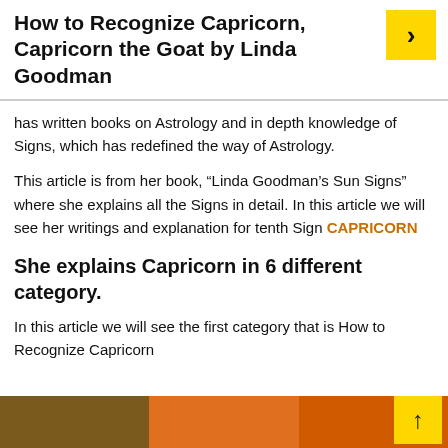How to Recognize Capricorn, Capricorn the Goat by Linda Goodman
has written books on Astrology and in depth knowledge of Signs, which has redefined the way of Astrology.
This article is from her book, “Linda Goodman’s Sun Signs” where she explains all the Signs in detail. In this article we will see her writings and explanation for tenth Sign CAPRICORN
She explains Capricorn in 6 different category.
In this article we will see the first category that is How to Recognize Capricorn